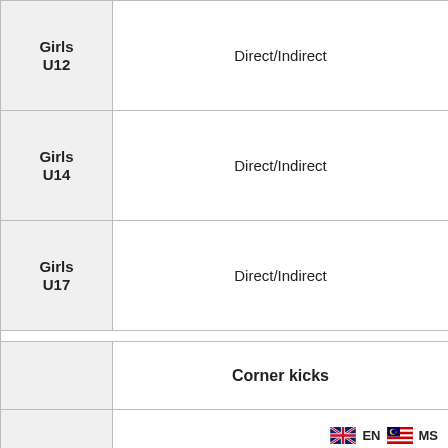| Category | Rule |
| --- | --- |
| Girls U12 | Direct/Indirect |
| Girls U14 | Direct/Indirect |
| Girls U17 | Direct/Indirect |
|  | Corner kicks |
| Girls U10 | Applicable |
| Girls U12 | Applicable |
| Girls U14 | Applicable |